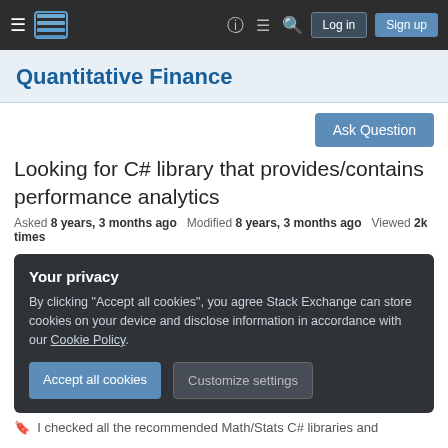Quantitative Finance — Stack Exchange navigation bar
Quantitative Finance
Ask Question
Looking for C# library that provides/contains performance analytics
Asked 8 years, 3 months ago   Modified 8 years, 3 months ago   Viewed 2k times
Your privacy
By clicking "Accept all cookies", you agree Stack Exchange can store cookies on your device and disclose information in accordance with our Cookie Policy.
Accept all cookies   Customize settings
I checked all the recommended Math/Stats C# libraries and